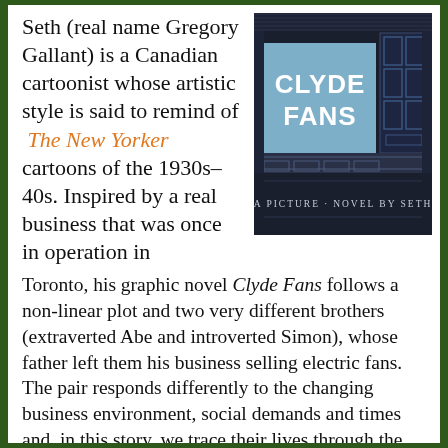Seth (real name Gregory Gallant) is a Canadian cartoonist whose artistic style is said to remind of The New Yorker cartoons of the 1930s–40s. Inspired by a real business that was once in operation in Toronto, his graphic novel Clyde Fans follows a non-linear plot and two very different brothers (extraverted Abe and introverted Simon), whose father left them his business selling electric fans. The pair responds differently to the changing business environment, social demands and times and, in this story, we trace their lives through the life of a company that came to define them and their family, following them through their hopes and dreams, initial successes, bankruptcies, family
[Figure (illustration): Book cover of 'Clyde Fans' by Seth — dark navy/charcoal background depicting a storefront with brick walls and windows, a blue square sign reading 'CLYDE FANS' in bold white text, with text at the bottom reading 'A PICTURE NOVEL BY SETH' and '15¢' in the upper right corner.]